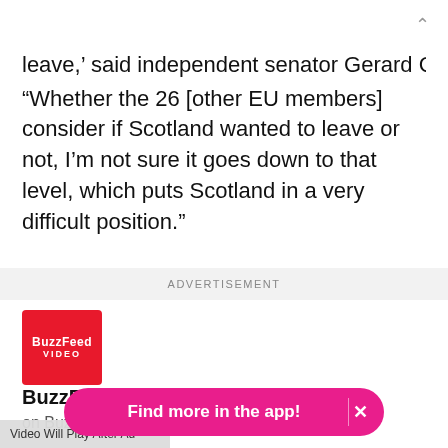leave,' said independent senator Gerard Craughwell. "Whether the 26 [other EU members] consider if Scotland wanted to leave or not, I'm not sure it goes down to that level, which puts Scotland in a very difficult position."
ADVERTISEMENT
[Figure (logo): BuzzFeed Video red logo box]
BuzzFeed Videos
on BuzzFeed
Video Will Play After Ad
Find more in the app!  ×